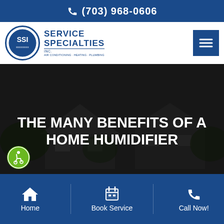(703) 968-0606
[Figure (logo): Service Specialties Inc logo with SSI circle emblem and text: AIR CONDITIONING · HEATING · PLUMBING]
THE MANY BENEFITS OF A HOME HUMIDIFIER
[Figure (photo): Dark-tinted photo of a suburban house exterior with trees, used as hero background]
Home | Book Service | Call Now!